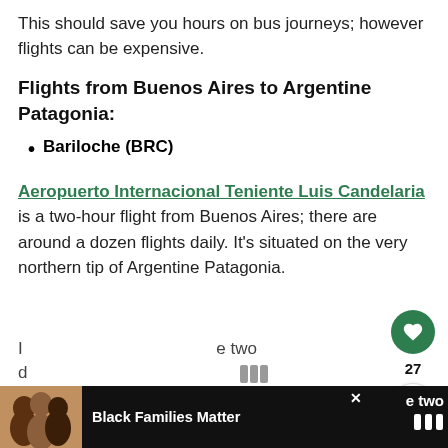This should save you hours on bus journeys; however flights can be expensive.
Flights from Buenos Aires to Argentine Patagonia:
Bariloche (BRC)
Aeropuerto Internacional Teniente Luis Candelaria is a two-hour flight from Buenos Aires; there are around a dozen flights daily. It's situated on the very northern tip of Argentine Patagonia.
[Figure (infographic): Social sharing widget with heart/like button showing 27 likes and a share button]
[Figure (infographic): What's Next widget with mountain image linking to Patagonia Itinerary: 4...]
[Figure (infographic): Advertisement bar at bottom showing Black Families Matter with photo and partial text]